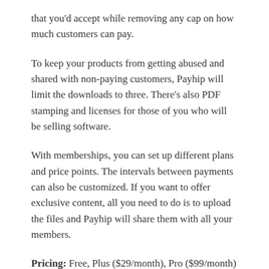that you'd accept while removing any cap on how much customers can pay.
To keep your products from getting abused and shared with non-paying customers, Payhip will limit the downloads to three. There's also PDF stamping and licenses for those of you who will be selling software.
With memberships, you can set up different plans and price points. The intervals between payments can also be customized. If you want to offer exclusive content, all you need to do is to upload the files and Payhip will share them with all your members.
Pricing: Free, Plus ($29/month), Pro ($99/month)